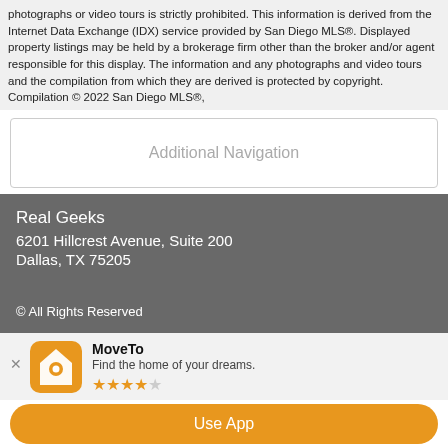photographs or video tours is strictly prohibited. This information is derived from the Internet Data Exchange (IDX) service provided by San Diego MLS®. Displayed property listings may be held by a brokerage firm other than the broker and/or agent responsible for this display. The information and any photographs and video tours and the compilation from which they are derived is protected by copyright. Compilation © 2022 San Diego MLS®,
Additional Navigation
Real Geeks
6201 Hillcrest Avenue, Suite 200
Dallas, TX 75205

© All Rights Reserved
MoveTo
Find the home of your dreams.
★★★★☆
Use App